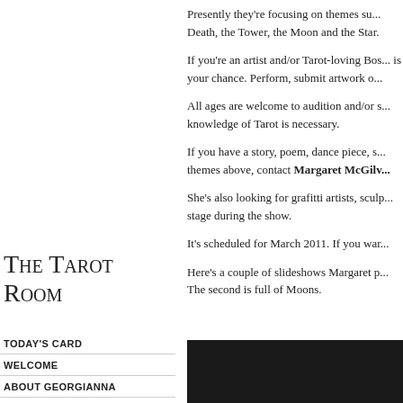The Tarot Room
TODAY'S CARD
WELCOME
ABOUT GEORGIANNA
BOOK A READING
CONTACT
SOUL AND PERSONALITY
Presently they're focusing on themes su... Death, the Tower, the Moon and the Star.
If you're an artist and/or Tarot-loving Bos... is your chance. Perform, submit artwork o...
All ages are welcome to audition and/or s... knowledge of Tarot is necessary.
If you have a story, poem, dance piece, s... themes above, contact Margaret McGilv...
She's also looking for grafitti artists, sculp... stage during the show.
It's scheduled for March 2011. If you war...
Here's a couple of slideshows Margaret p... The second is full of Moons.
[Figure (other): Dark/black background image area at bottom right]